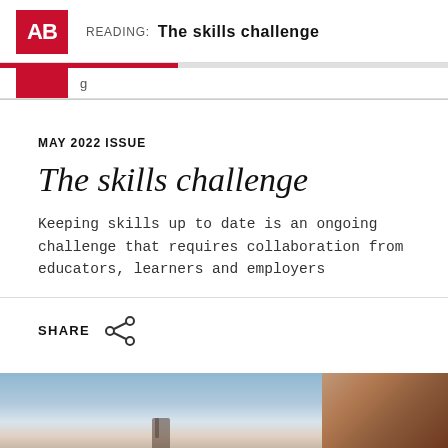AB READING: The skills challenge
MAY 2022 ISSUE
The skills challenge
Keeping skills up to date is an ongoing challenge that requires collaboration from educators, learners and employers
SHARE
[Figure (photo): Two-panel image: left panel shows an outdoor sky scene with warm tones at horizon, right panel shows a wooden door or wall surface in brown tones.]